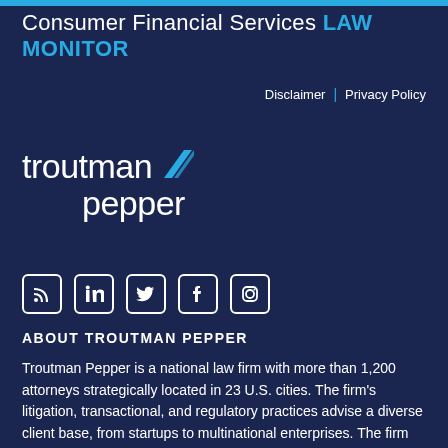Consumer Financial Services LAW MONITOR
Disclaimer | Privacy Policy
[Figure (logo): Troutman Pepper law firm logo with stylized flag icon in blue]
[Figure (infographic): Social media icons: RSS, LinkedIn, Twitter, Facebook, Instagram]
ABOUT TROUTMAN PEPPER
Troutman Pepper is a national law firm with more than 1,200 attorneys strategically located in 23 U.S. cities. The firm's litigation, transactional, and regulatory practices advise a diverse client base, from startups to multinational enterprises. The firm provides sophisticated legal solutions